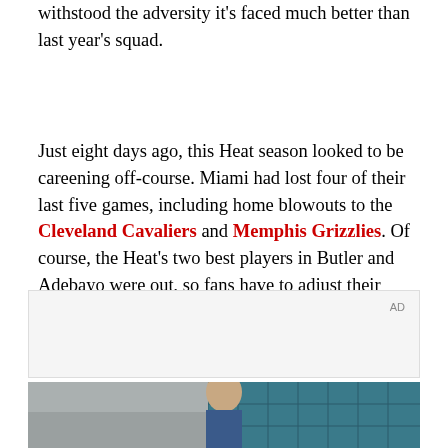withstood the adversity it's faced much better than last year's squad.
Just eight days ago, this Heat season looked to be careening off-course. Miami had lost four of their last five games, including home blowouts to the Cleveland Cavaliers and Memphis Grizzlies. Of course, the Heat's two best players in Butler and Adebayo were out, so fans have to adjust their expectations. But getting blown out at home is never a good sign.
[Figure (other): Advertisement box with 'AD' label in top right corner, light gray background]
[Figure (photo): Photo of a young man with curly hair in a blue jacket, standing in front of a teal/blue tiled wall with windows, indoor setting]